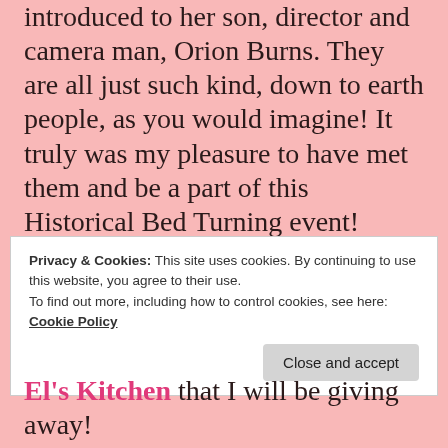introduced to her son, director and camera man, Orion Burns. They are all just such kind, down to earth people, as you would imagine! It truly was my pleasure to have met them and be a part of this Historical Bed Turning event!
I was able to get my book autographed by Eleanor and I was so excited about that!
Privacy & Cookies: This site uses cookies. By continuing to use this website, you agree to their use.
To find out more, including how to control cookies, see here:
Cookie Policy
Close and accept
El's Kitchen that I will be giving away!